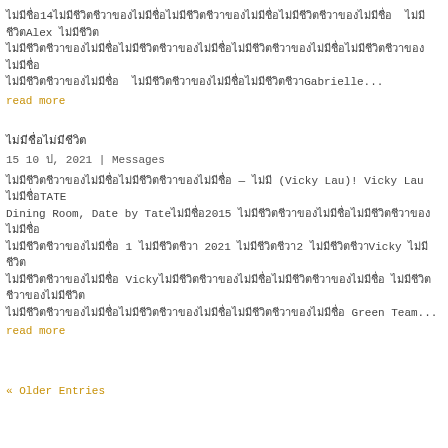ไม่มีชื่อ14ไม่มีชีวิตชีวาของไม่มีชื่อ Alex ไม่มีชีวิตชีวาของไม่มีชื่อไม่มีชีวิตชีวาของไม่มีชื่อไม่มีชีวิตชีวา Gabrielle...
read more
ไม่มีชื่อ
15 10 ป, 2021 | Messages
ไม่มีชีวิตชีวาของไม่มีชื่อ — ไม่มี (Vicky Lau)! Vicky Lau ไม่มีชื่อTATE Dining Room, Date by Tateไม่มีชื่อ2015 ไม่มีชีวิตชีวาของไม่มีชื่อ 1 ไม่มีชื่อ 2021 ไม่มีชีวิตชีวา2 ไม่มีชีวิตชีวาVicky ไม่มีชีวิตชีวา Vickyไม่มีชีวิตชีวาของไม่มีชื่อ ไม่มีชีวิตชีวาของไม่มีชีวิตชีวาของ Green Team...
read more
« Older Entries